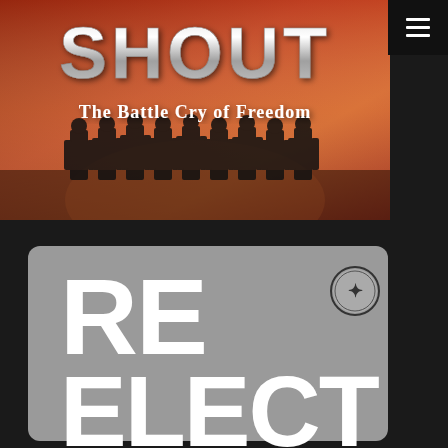[Figure (illustration): Book/film cover image: large metallic text 'SHOUT' at top, subtitle 'The Battle Cry of Freedom' in white below, background shows silhouettes of riot police in orange/smoky haze overlaid with American flag imagery]
[Figure (illustration): Gray background card/cover with large bold white text 'RE ELECT' split across two lines, small circular logo/seal in upper right corner]